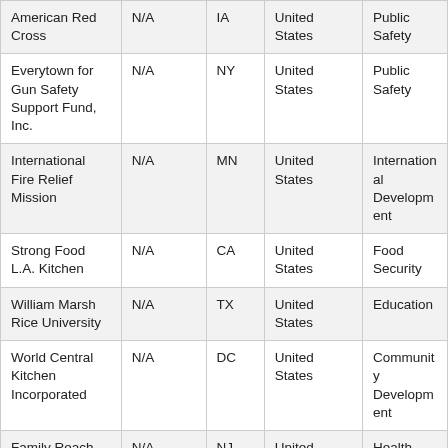| American Red Cross | N/A | IA | United States | Public Safety |
| Everytown for Gun Safety Support Fund, Inc. | N/A | NY | United States | Public Safety |
| International Fire Relief Mission | N/A | MN | United States | International Development |
| Strong Food L.A. Kitchen | N/A | CA | United States | Food Security |
| William Marsh Rice University | N/A | TX | United States | Education |
| World Central Kitchen Incorporated | N/A | DC | United States | Community Development |
| Family Reach Foundation | N/A | NJ | United States | Health |
| Peninsula Open Space Trust | Santa Clara | CA | United States | Environment |